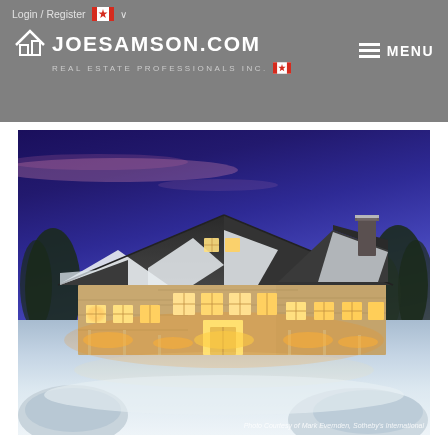Login / Register [Canadian flag] JOESAMSON.COM REAL ESTATE PROFESSIONALS INC. [Canadian flag] MENU
[Figure (photo): Exterior night-time photo of a large luxury home with stone facade, snow-covered roof, warm interior lights glowing through multiple windows, surrounded by snow-covered ground and trees under a twilight blue-purple sky. Caption: Photo Courtesy of Mark Evernden, Sotheby's International]
Photo Courtesy of Mark Evernden, Sotheby's International